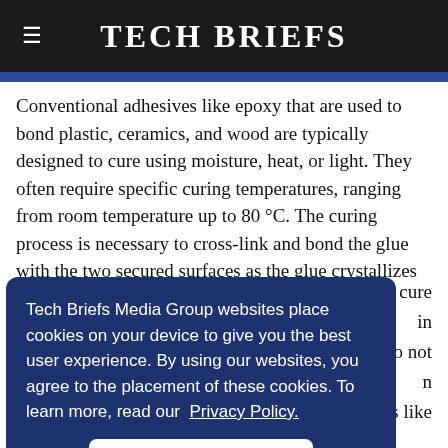Tech Briefs
Conventional adhesives like epoxy that are used to bond plastic, ceramics, and wood are typically designed to cure using moisture, heat, or light. They often require specific curing temperatures, ranging from room temperature up to 80 °C. The curing process is necessary to cross-link and bond the glue with the two secured surfaces as the glue crystallizes and hardens to achieve its final strength.
n cure
in
do not
n
ors like
Tech Briefs Media Group websites place cookies on your device to give you the best user experience. By using our websites, you agree to the placement of these cookies. To learn more, read our Privacy Policy.

Accept & Continue